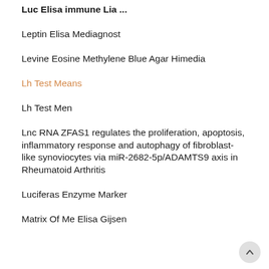Luc Elisa Immune Lia (truncated top)
Leptin Elisa Mediagnost
Levine Eosine Methylene Blue Agar Himedia
Lh Test Means
Lh Test Men
Lnc RNA ZFAS1 regulates the proliferation, apoptosis, inflammatory response and autophagy of fibroblast-like synoviocytes via miR-2682-5p/ADAMTS9 axis in Rheumatoid Arthritis
Luciferas Enzyme Marker
Matrix Of Me Elisa Gijsen